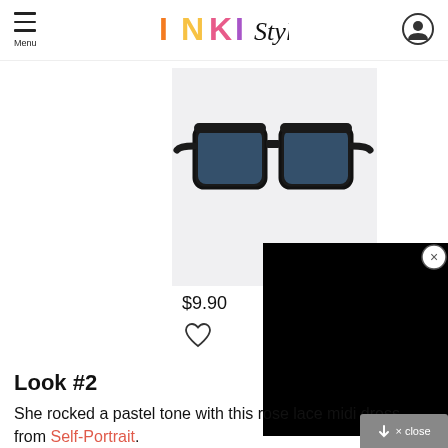INKI Style
[Figure (photo): Black square-frame sunglasses with blue tinted lenses on a light gray background]
$9.90
[Figure (other): Black panel overlay (video or media player area)]
Look #2
She rocked a pastel tone with this rose lace midi dress from Self-Portrait.